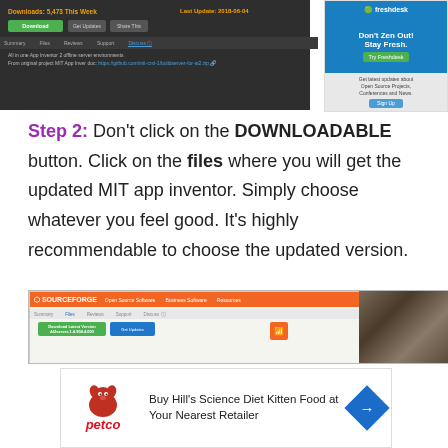[Figure (screenshot): Screenshot of a software download page (SourceForge-like) showing Downloads count, Last Update date, Download/Get Updates/Share This buttons, navigation tabs (Summary, Files, Reviews, Support, Discuss), and description text about MIT App Inventor 2 offline server. Right side shows a Freshdesk advertisement panel saying 'Don't Zen Out! Stay Fresh.' with a green button and newsletter signup.]
Step 2: Don't click on the DOWNLOADABLE button. Click on the files where you will get the updated MIT app inventor. Simply choose whatever you feel good. It's highly recommendable to choose the updated version.
[Figure (screenshot): Screenshot of SourceForge website with orange header showing SourceForge logo and navigation. Below shows Files tab selected in blue, with a green 'Download Latest Version' button and a blue 'Get Updates' button. An RSS icon is visible. Right side shows a photo of people.]
[Figure (screenshot): Advertisement for Petco showing 'Buy Hill's Science Diet Kitten Food at Your Nearest Retailer' with a Petco logo (red dog illustration and red italic petco text), a blue diamond arrow icon, and small play/close icons.]